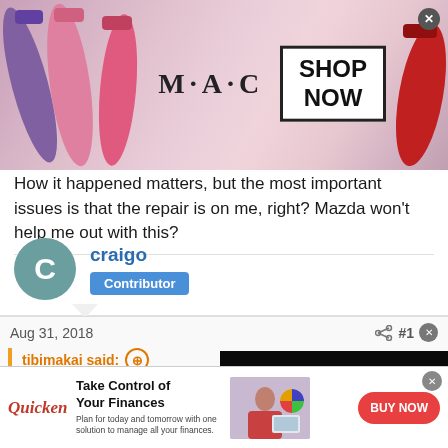[Figure (photo): MAC cosmetics advertisement banner with lipsticks, MAC logo, and SHOP NOW box]
How it happened matters, but the most important issues is that the repair is on me, right? Mazda won't help me out with this?
craigo
Contributor
Aug 31, 2018
#1
tibimakai said:
I will ask the guy, but he said that, car wash/detail class as well. How it happened matters, but the the repair is on me, right? Mazda won't help me out with this?
[Figure (screenshot): Video player showing dark background with red cars and text MAZDA TALKS ELECTRIFICATION - SOLUTIONS with play button]
[Figure (photo): Quicken advertisement: Take Control of Your Finances with BUY NOW button]